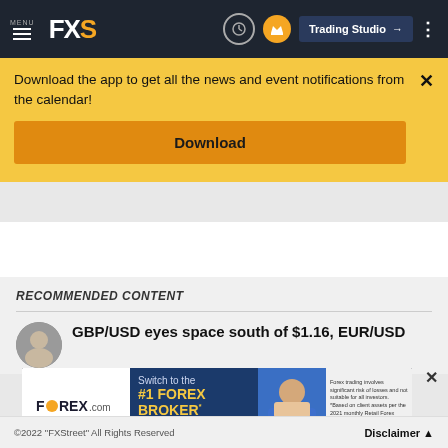MENU FXS | Trading Studio
Download the app to get all the news and event notifications from the calendar!
Download
RECOMMENDED CONTENT
GBP/USD eyes space south of $1.16, EUR/USD
[Figure (screenshot): FOREX.com advertisement banner: Switch to the #1 FOREX BROKER* - OPEN ACCOUNT]
©2022 "FXStreet" All Rights Reserved   Disclaimer ▲